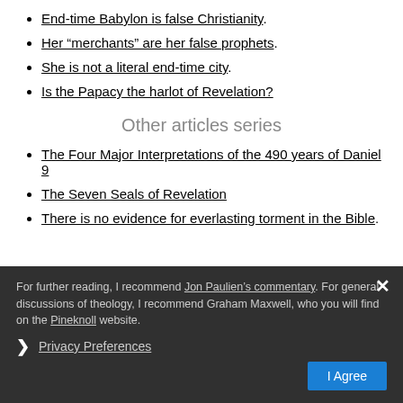End-time Babylon is false Christianity.
Her “merchants” are her false prophets.
She is not a literal end-time city.
Is the Papacy the harlot of Revelation?
Other articles series
The Four Major Interpretations of the 490 years of Daniel 9
The Seven Seals of Revelation
There is no evidence for everlasting torment in the Bible.
For further reading, I recommend Jon Paulien’s commentary. For general discussions of theology, I recommend Graham Maxwell, who you will find on the Pineknoll website.